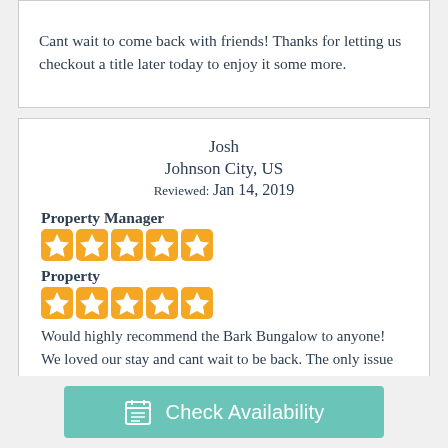Cant wait to come back with friends! Thanks for letting us checkout a title later today to enjoy it some more.
Josh
Johnson City, US
Reviewed: Jan 14, 2019
Property Manager
[Figure (other): 5 orange star rating icons for Property Manager]
Property
[Figure (other): 5 orange star rating icons for Property]
Would highly recommend the Bark Bungalow to anyone! We loved our stay and cant wait to be back. The only issue was the igniter on the grill didnt work. Looking forward to coming back in the future!
Check Availability